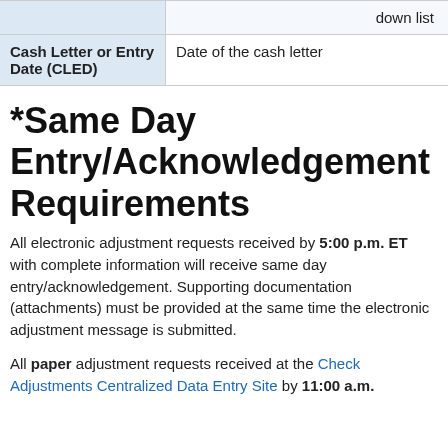| Field | Description |
| --- | --- |
|  | down list |
| Cash Letter or Entry Date (CLED) | Date of the cash letter |
*Same Day Entry/Acknowledgement Requirements
All electronic adjustment requests received by 5:00 p.m. ET with complete information will receive same day entry/acknowledgement. Supporting documentation (attachments) must be provided at the same time the electronic adjustment message is submitted.
All paper adjustment requests received at the Check Adjustments Centralized Data Entry Site by 11:00 a.m.